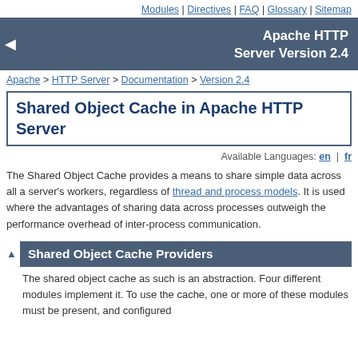Modules | Directives | FAQ | Glossary | Sitemap
Apache HTTP Server Version 2.4
Apache > HTTP Server > Documentation > Version 2.4
Shared Object Cache in Apache HTTP Server
Available Languages: en | fr
The Shared Object Cache provides a means to share simple data across all a server's workers, regardless of thread and process models. It is used where the advantages of sharing data across processes outweigh the performance overhead of inter-process communication.
Shared Object Cache Providers
The shared object cache as such is an abstraction. Four different modules implement it. To use the cache, one or more of these modules must be present, and configured